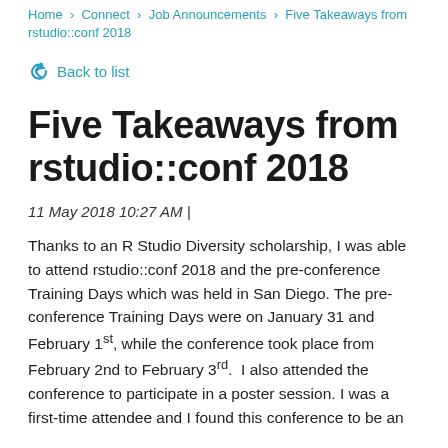Home > Connect > Job Announcements > Five Takeaways from rstudio::conf 2018
Back to list
Five Takeaways from rstudio::conf 2018
11 May 2018 10:27 AM |
Thanks to an R Studio Diversity scholarship, I was able to attend rstudio::conf 2018 and the pre-conference Training Days which was held in San Diego. The pre-conference Training Days were on January 31 and February 1st, while the conference took place from February 2nd to February 3rd.  I also attended the conference to participate in a poster session. I was a first-time attendee and I found this conference to be an